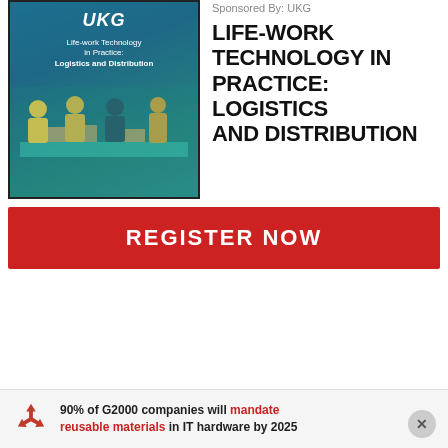[Figure (illustration): Book cover for 'Life-work Technology in Practice: Logistics and Distribution' sponsored by UKG. Shows workers in yellow vests at distribution center tables with teal/blue gradient background.]
Sponsored By: UKG
LIFE-WORK TECHNOLOGY IN PRACTICE: LOGISTICS AND DISTRIBUTION
REGISTER NOW
90% of G2000 companies will mandate reusable materials in IT hardware by 2025